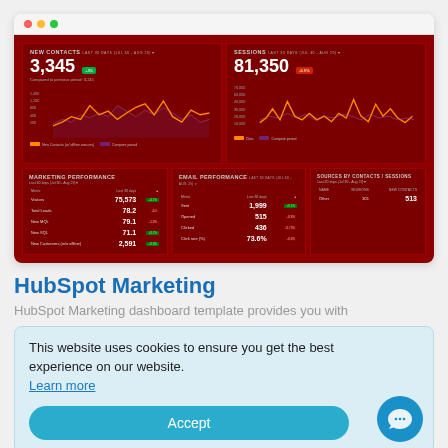[Figure (screenshot): HubSpot Marketing dashboard screenshot showing New Contacts (3,345), Sessions (81,350), Marketing Performance table, Email Performance table, and Sources by Contacts/Sessions panel, all on a dark red background with line charts]
HubSpot Marketing
HubSpot Marketing dashboard template provides you with
This website uses cookies to ensure you get the best experience on our website. Learn more
Accept